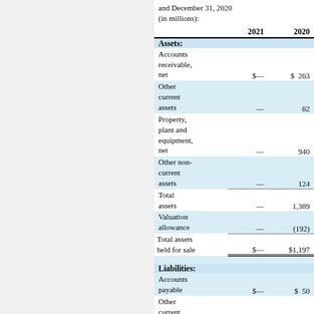and December 31, 2020 (in millions):
|  | 2021 | 2020 |
| --- | --- | --- |
| Assets: |  |  |
| Accounts receivable, net | $— | $ 263 |
| Other current assets | — | 62 |
| Property, plant and equipment, net | — | 940 |
| Other non-current assets | — | 124 |
| Total assets | — | 1,389 |
| Valuation allowance | — | (192) |
| Total assets held for sale | $— | $1,197 |
| Liabilities: |  |  |
| Accounts payable | $— | $ 50 |
| Other current liabilities | — | 112 |
| Other non-current |  |  |